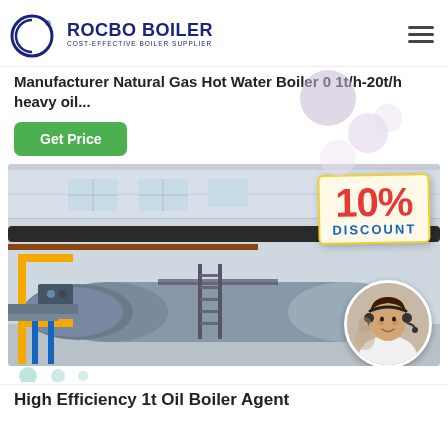[Figure (logo): Rocbo Boiler logo with circular emblem and text 'ROCBO BOILER - COST-EFFECTIVE BOILER SUPPLIER']
Manufacturer Natural Gas Hot Water Boiler 0 1t/h-20t/h heavy oil...
Get Price
[Figure (photo): Industrial boiler facility showing a large horizontal boiler tank with yellow and blue structural supports, overhead pipes, and a 10% DISCOUNT badge overlay with a customer service representative in a circular inset photo]
High Efficiency 1t Oil Boiler Agent